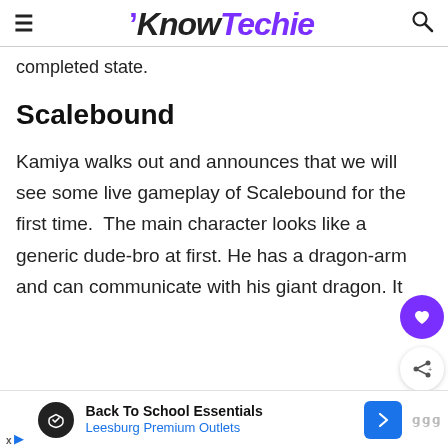KnowTechie
completed state.
Scalebound
Kamiya walks out and announces that we will see some live gameplay of Scalebound for the first time.  The main character looks like a generic dude-bro at first. He has a dragon-arm and can communicate with his giant dragon. It
[Figure (other): Advertisement banner: Back To School Essentials - Leesburg Premium Outlets with play button icon and blue chevron arrow]